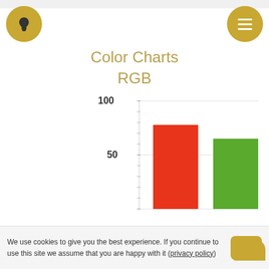Color Charts
RGB
[Figure (bar-chart): Color Charts RGB]
We use cookies to give you the best experience. If you continue to use this site we assume that you are happy with it (privacy policy)